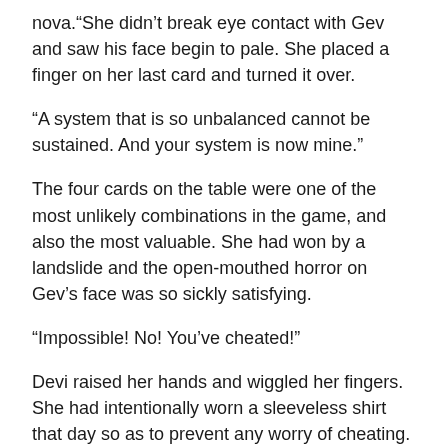nova.“She didn’t break eye contact with Gev and saw his face begin to pale. She placed a finger on her last card and turned it over.
“A system that is so unbalanced cannot be sustained. And your system is now mine.”
The four cards on the table were one of the most unlikely combinations in the game, and also the most valuable. She had won by a landslide and the open-mouthed horror on Gev’s face was so sickly satisfying.
“Impossible! No! You’ve cheated!”
Devi raised her hands and wiggled her fingers. She had intentionally worn a sleeveless shirt that day so as to prevent any worry of cheating.